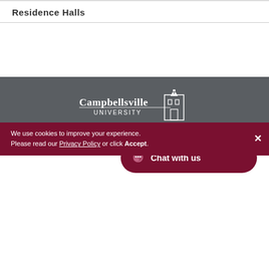Residence Halls
[Figure (logo): Campbellsville University logo in white on dark gray background]
1 University Drive Campbellsville, KY 42718
[Figure (other): Chat with us button overlay with X close button]
We use cookies to improve your experience. Please read our Privacy Policy or click Accept.